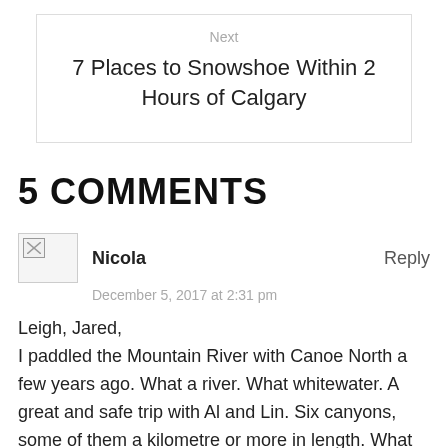Next
7 Places to Snowshoe Within 2 Hours of Calgary
5 COMMENTS
[Figure (other): Avatar placeholder image with broken image icon]
Nicola
Reply
December 5, 2017 at 2:31 pm
Leigh, Jared,
I paddled the Mountain River with Canoe North a few years ago. What a river. What whitewater. A great and safe trip with Al and Lin. Six canyons, some of them a kilometre or more in length. What memories.
Nicola